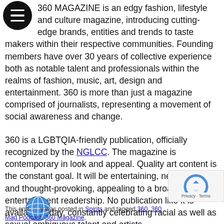[Figure (logo): Black circular menu/hamburger icon with three white horizontal lines]
360 MAGAZINE is an edgy fashion, lifestyle and culture magazine, introducing cutting-edge brands, entities and trends to taste makers within their respective communities. Founding members have over 30 years of collective experience both as notable talent and professionals within the realms of fashion, music, art, design and entertainment. 360 is more than just a magazine comprised of journalists, representing a movement of social awareness and change.
360 is a LGBTQIA-friendly publication, officially recognized by the NGLCC. The magazine is contemporary in look and appeal. Quality art content is the constant goal. It will be entertaining, newsworthy and thought-provoking, appealing to a broad entertainment readership. No publication like it is available today, constantly celebrating racial as well as sexual ambiguous talent and artists.
[Figure (illustration): Blue globe/earth icon]
This entry was posted in Spirits and tagged 360, 360 Mag Podcast, 360 Magazine,
[Figure (logo): reCAPTCHA badge with Privacy and Terms links]